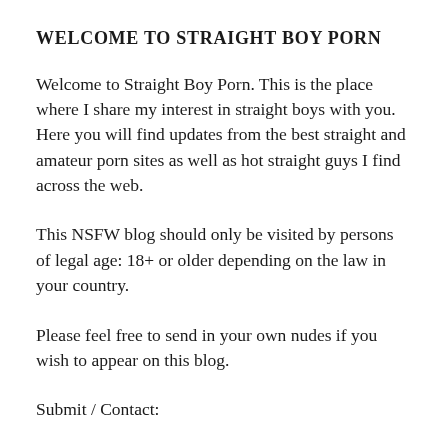WELCOME TO STRAIGHT BOY PORN
Welcome to Straight Boy Porn. This is the place where I share my interest in straight boys with you. Here you will find updates from the best straight and amateur porn sites as well as hot straight guys I find across the web.
This NSFW blog should only be visited by persons of legal age: 18+ or older depending on the law in your country.
Please feel free to send in your own nudes if you wish to appear on this blog.
Submit / Contact: